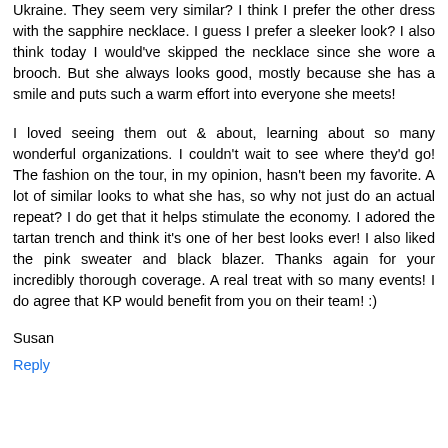Ukraine. They seem very similar? I think I prefer the other dress with the sapphire necklace. I guess I prefer a sleeker look? I also think today I would've skipped the necklace since she wore a brooch. But she always looks good, mostly because she has a smile and puts such a warm effort into everyone she meets!
I loved seeing them out & about, learning about so many wonderful organizations. I couldn't wait to see where they'd go! The fashion on the tour, in my opinion, hasn't been my favorite. A lot of similar looks to what she has, so why not just do an actual repeat? I do get that it helps stimulate the economy. I adored the tartan trench and think it's one of her best looks ever! I also liked the pink sweater and black blazer. Thanks again for your incredibly thorough coverage. A real treat with so many events! I do agree that KP would benefit from you on their team! :)
Susan
Reply